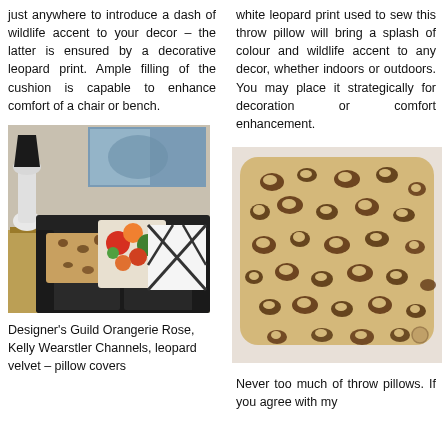just anywhere to introduce a dash of wildlife accent to your decor – the latter is ensured by a decorative leopard print. Ample filling of the cushion is capable to enhance comfort of a chair or bench.
white leopard print used to sew this throw pillow will bring a splash of colour and wildlife accent to any decor, whether indoors or outdoors. You may place it strategically for decoration or comfort enhancement.
[Figure (photo): A black leather sofa with decorative throw pillows including a floral print pillow, a geometric black and white pillow, and a leopard print pillow. A white lamp and wooden side table are visible.]
[Figure (photo): A square leopard print throw pillow with tan/beige background and dark brown spots, photographed against a white background.]
Designer's Guild Orangerie Rose, Kelly Wearstler Channels, leopard velvet – pillow covers
Never too much of throw pillows. If you agree with my